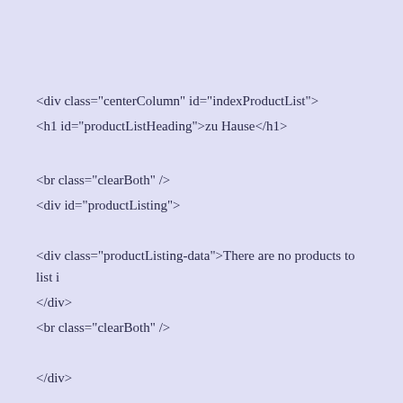<div class="centerColumn" id="indexProductList">
<h1 id="productListHeading">zu Hause</h1>
<br class="clearBoth" />
<div id="productListing">
<div class="productListing-data">There are no products to list i </div>
<br class="clearBoth" />
</div>